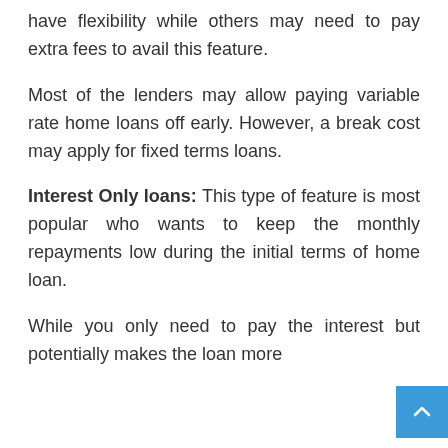have flexibility while others may need to pay extra fees to avail this feature.
Most of the lenders may allow paying variable rate home loans off early. However, a break cost may apply for fixed terms loans.
Interest Only loans: This type of feature is most popular who wants to keep the monthly repayments low during the initial terms of home loan.
While you only need to pay the interest but potentially makes the loan more